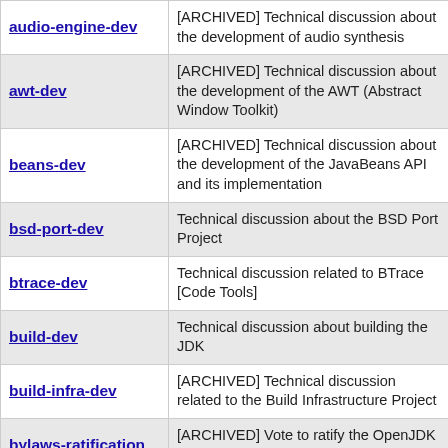| Name | Description |
| --- | --- |
| audio-engine-dev | [ARCHIVED] Technical discussion about the development of audio synthesis |
| awt-dev | [ARCHIVED] Technical discussion about the development of the AWT (Abstract Window Toolkit) |
| beans-dev | [ARCHIVED] Technical discussion about the development of the JavaBeans API and its implementation |
| bsd-port-dev | Technical discussion about the BSD Port Project |
| btrace-dev | Technical discussion related to BTrace [Code Tools] |
| build-dev | Technical discussion about building the JDK |
| build-infra-dev | [ARCHIVED] Technical discussion related to the Build Infrastructure Project |
| bylaws-ratification | [ARCHIVED] Vote to ratify the OpenJDK Community Bylaws (2011) |
| caciocavallo-dev | Technical discussion about the Caciocavallo Project |
| (partial) | [ARCHIVED] Discussion of the |